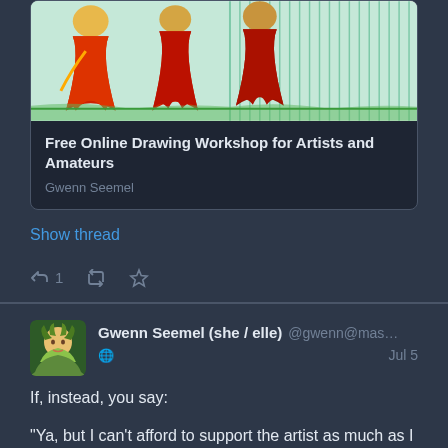[Figure (illustration): Colorful illustration showing figures in red dresses on a green/teal background, partial view at top of card]
Free Online Drawing Workshop for Artists and Amateurs
Gwenn Seemel
Show thread
1 (reply icon, retweet icon, star icon)
Gwenn Seemel (she / elle) @gwenn@mas... Jul 5
If, instead, you say:

"Ya, but I can't afford to support the artist as much as I want to."

My answer is:

So if $24 per year isn't as much as you want to give, you'd rather give nothing? In my world, $24